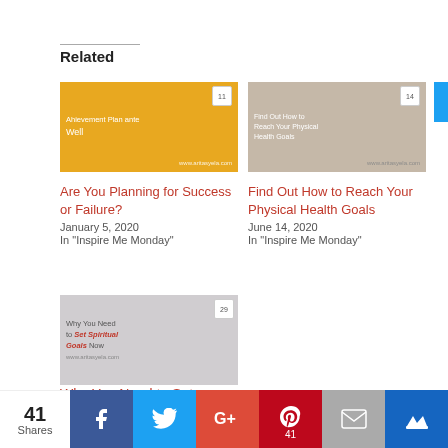Related
[Figure (photo): Yellow background with person holding umbrella, blog post thumbnail for 'Are You Planning for Success or Failure?']
Are You Planning for Success or Failure?
January 5, 2020
In "Inspire Me Monday"
[Figure (photo): Woman in sunlight, blog post thumbnail for 'Find Out How to Reach Your Physical Health Goals']
Find Out How to Reach Your Physical Health Goals
June 14, 2020
In "Inspire Me Monday"
[Figure (photo): Woman meditating with Christmas tree, blog post thumbnail for 'Why You Need to Set Spiritual Goals Now']
Why You Need to Set
41 Shares | Facebook | Twitter | Google+ | Pinterest 41 | Email | Crown